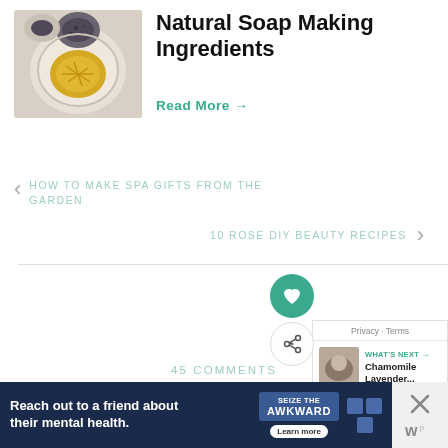[Figure (photo): Bowl with dried herbs/botanicals (saffron, poppy seeds) photographed from above on a marble surface]
Natural Soap Making Ingredients
Read More →
HOW TO MAKE SPA GIFTS FROM THE GARDEN
10 ROSE DIY BEAUTY RECIPES
Privacy · Terms
WHAT'S NEXT → Chamomile Lavender...
45 COMMENTS
Reach out to a friend about their mental health. Learn more   SEIZE THE AWKWARD